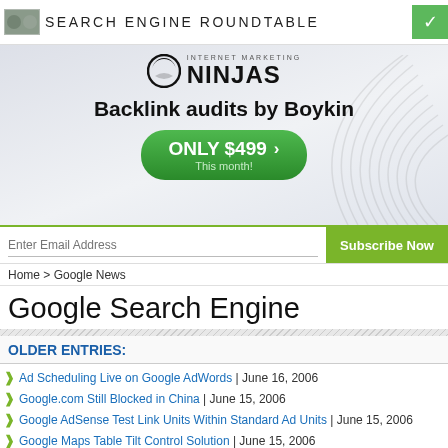SEARCH ENGINE ROUNDTABLE
[Figure (illustration): Internet Marketing Ninjas advertisement banner with logo, 'Backlink audits by Boykin', and 'ONLY $499 This month!' green button]
Enter Email Address | Subscribe Now
Home > Google News
Google Search Engine
OLDER ENTRIES:
Ad Scheduling Live on Google AdWords | June 16, 2006
Google.com Still Blocked in China | June 15, 2006
Google AdSense Test Link Units Within Standard Ad Units | June 15, 2006
Google Maps Table Tilt Control Solution | June 15, 2006
SEOs, Don't Be Fooled by Personalized Search Results | June 14, 2006